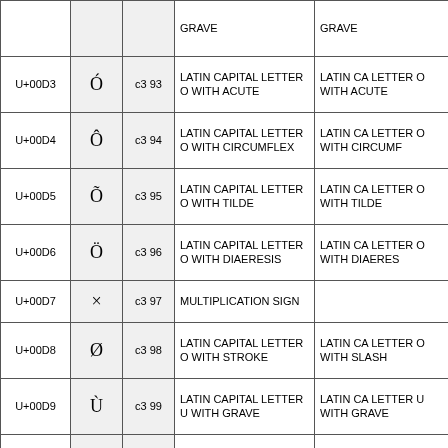| Code | Char | Bytes | Unicode Name | Alt Name |
| --- | --- | --- | --- | --- |
|  |  |  | GRAVE | GRAVE |
| U+00D3 | Ó | c3 93 | LATIN CAPITAL LETTER O WITH ACUTE | LATIN CAPITAL LETTER O WITH ACUTE |
| U+00D4 | Ô | c3 94 | LATIN CAPITAL LETTER O WITH CIRCUMFLEX | LATIN CAPITAL LETTER O WITH CIRCUMFLEX |
| U+00D5 | Õ | c3 95 | LATIN CAPITAL LETTER O WITH TILDE | LATIN CAPITAL LETTER O WITH TILDE |
| U+00D6 | Ö | c3 96 | LATIN CAPITAL LETTER O WITH DIAERESIS | LATIN CAPITAL LETTER O WITH DIAERESIS |
| U+00D7 | × | c3 97 | MULTIPLICATION SIGN |  |
| U+00D8 | Ø | c3 98 | LATIN CAPITAL LETTER O WITH STROKE | LATIN CAPITAL LETTER O WITH SLASH |
| U+00D9 | Ù | c3 99 | LATIN CAPITAL LETTER U WITH GRAVE | LATIN CAPITAL LETTER U WITH GRAVE |
| U+00DA | Ú | c3 9a | LATIN CAPITAL LETTER U WITH ACUTE | LATIN CAPITAL LETTER U WITH ACUTE |